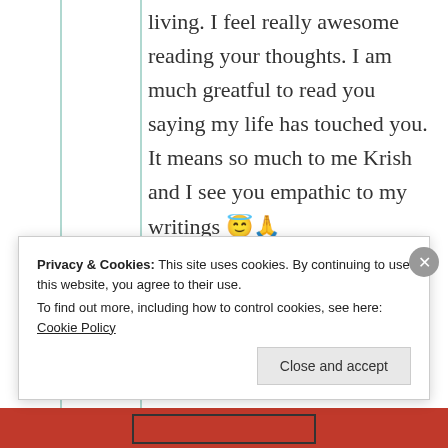living. I feel really awesome reading your thoughts. I am much greatful to read you saying my life has touched you. It means so much to me Krish and I see you empathic to my writings 😇🙏
★ Like
Privacy & Cookies: This site uses cookies. By continuing to use this website, you agree to their use. To find out more, including how to control cookies, see here: Cookie Policy
Close and accept